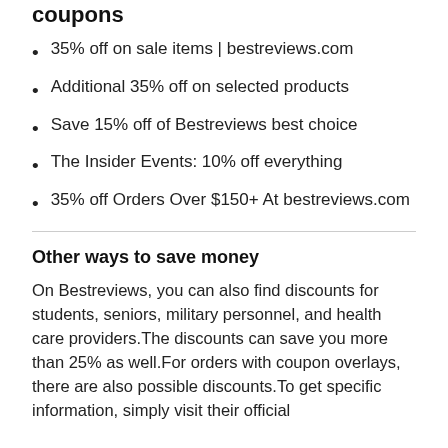coupons
35% off on sale items | bestreviews.com
Additional 35% off on selected products
Save 15% off of Bestreviews best choice
The Insider Events: 10% off everything
35% off Orders Over $150+ At bestreviews.com
Other ways to save money
On Bestreviews, you can also find discounts for students, seniors, military personnel, and health care providers.The discounts can save you more than 25% as well.For orders with coupon overlays, there are also possible discounts.To get specific information, simply visit their official